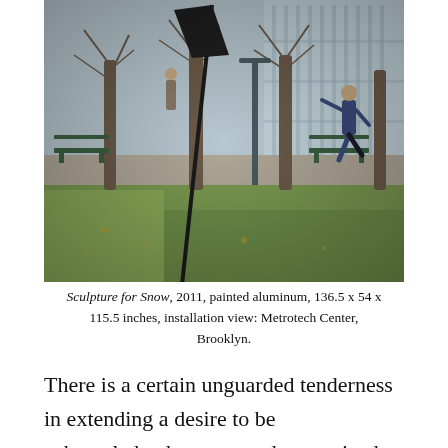[Figure (photo): Outdoor sculpture in a park setting. A large dark painted aluminum triangular/diamond-shaped form on a long diagonal pole planted in grass, with trees, benches, and a person walking in the background, in front of a glass building.]
Sculpture for Snow, 2011, painted aluminum, 136.5 x 54 x 115.5 inches, installation view: Metrotech Center, Brooklyn.
There is a certain unguarded tenderness in extending a desire to be acknowledged or seen and recognized as present to the objects that, Shirreff implies, or perhaps feels, do have